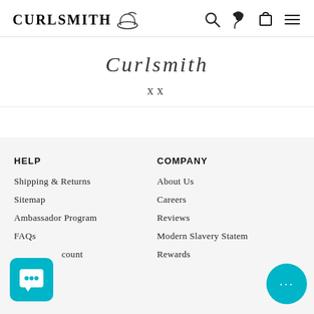CURLSMITH [logo icon]
Curlsmith
xx
HELP
Shipping & Returns
Sitemap
Ambassador Program
FAQs
...count
COMPANY
About Us
Careers
Reviews
Modern Slavery Statem...
Rewards